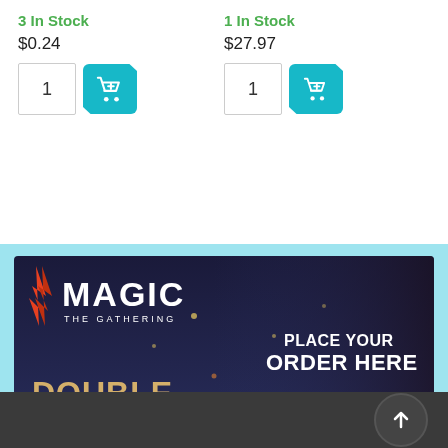3 In Stock
$0.24
1 In Stock
$27.97
[Figure (screenshot): Magic: The Gathering Double Masters 2022 promotional banner with text 'PLACE YOUR ORDER HERE']
[Figure (other): Dark grey footer bar with a circular scroll-to-top button]